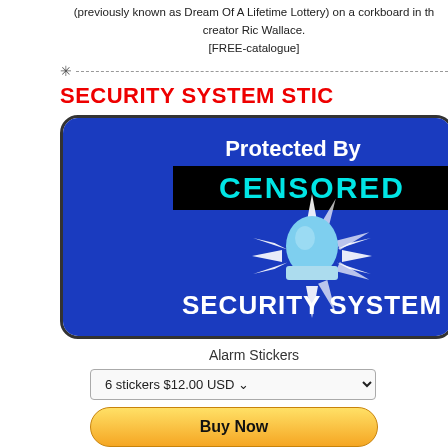(previously known as Dream Of A Lifetime Lottery) on a corkboard in th... creator Ric Wallace.
[FREE-catalogue]
SECURITY SYSTEM STICKERS
[Figure (illustration): Security system sticker with blue background, 'Protected By' text, CENSORED in cyan on black bar, alarm bell with radiating light rays, and 'SECURITY SYSTEM' text at bottom]
Alarm Stickers
6 stickers $12.00 USD
Buy Now